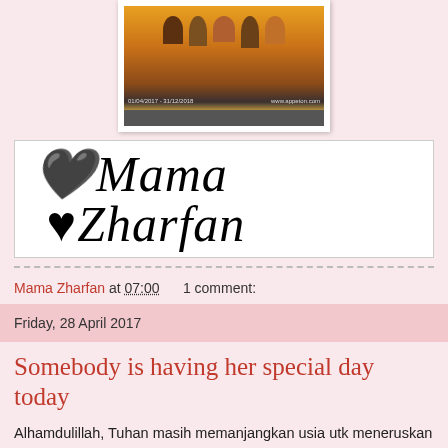[Figure (photo): A group photo of several people with arms raised, in front of a yellow background with text showing dates 01/04/2017 - 31/12/2018 and www.appeton.com]
[Figure (logo): Mama Zharfan blog logo in cursive italic black text on white background with border]
Mama Zharfan at 07:00    1 comment:
Friday, 28 April 2017
Somebody is having her special day today
Alhamdulillah, Tuhan masih memanjangkan usia utk meneruskan kehidupan...hari ni 28 April, hari lahir MZ yg ke-41..dh tua dah pun..tak tahu berapa lagi baki usia kat dunia nan fana ni..